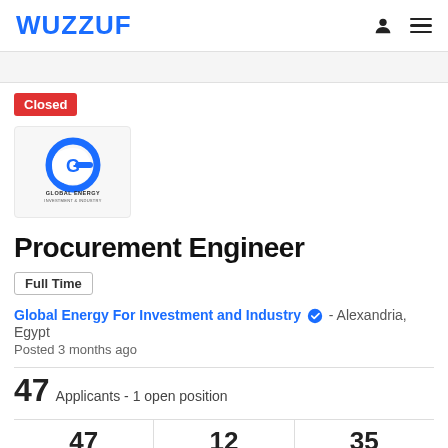WUZZUF
Closed
[Figure (logo): Global Energy For Investment and Industry company logo — blue circular G icon with company name below]
Procurement Engineer
Full Time
Global Energy For Investment and Industry - Alexandria, Egypt
Posted 3 months ago
47 Applicants - 1 open position
47 Viewed   12 In Consideration   35 Not Selected